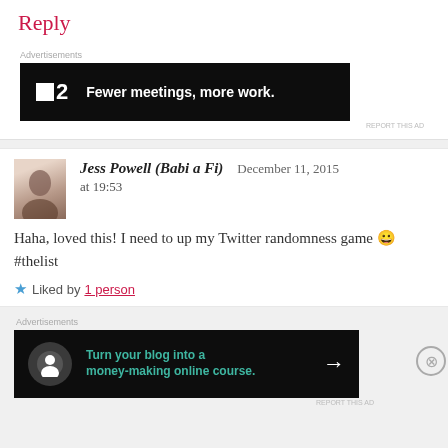Reply
Advertisements
[Figure (screenshot): Dark advertisement banner: P2 logo with text 'Fewer meetings, more work.']
REPORT THIS AD
[Figure (photo): User avatar photo of Jess Powell]
Jess Powell (Babi a Fi)  December 11, 2015 at 19:53
Haha, loved this! I need to up my Twitter randomness game 😀 #thelist
Liked by 1 person
Advertisements
[Figure (screenshot): Dark advertisement banner: Turn your blog into a money-making online course.]
REPORT THIS AD